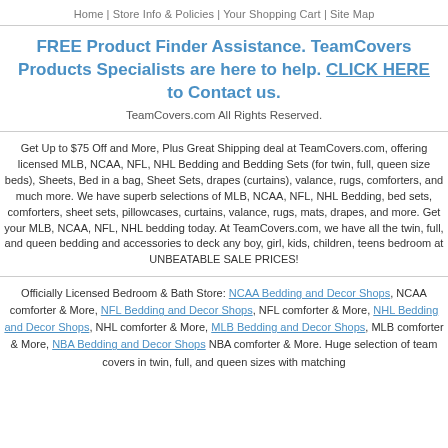Home | Store Info & Policies | Your Shopping Cart | Site Map
FREE Product Product Finder Assistance. TeamCovers Products Specialists are here to help. CLICK HERE to Contact us.
TeamCovers.com All Rights Reserved.
Get Up to $75 Off and More, Plus Great Shipping deal at TeamCovers.com, offering licensed MLB, NCAA, NFL, NHL Bedding and Bedding Sets (for twin, full, queen size beds), Sheets, Bed in a bag, Sheet Sets, drapes (curtains), valance, rugs, comforters, and much more. We have superb selections of MLB, NCAA, NFL, NHL Bedding, bed sets, comforters, sheet sets, pillowcases, curtains, valance, rugs, mats, drapes, and more. Get your MLB, NCAA, NFL, NHL bedding today. At TeamCovers.com, we have all the twin, full, and queen bedding and accessories to deck any boy, girl, kids, children, teens bedroom at UNBEATABLE SALE PRICES!
Officially Licensed Bedroom & Bath Store: NCAA Bedding and Decor Shops, NCAA comforter & More, NFL Bedding and Decor Shops, NFL comforter & More, NHL Bedding and Decor Shops, NHL comforter & More, MLB Bedding and Decor Shops, MLB comforter & More, NBA Bedding and Decor Shops NBA comforter & More. Huge selection of team covers in twin, full, and queen sizes with matching